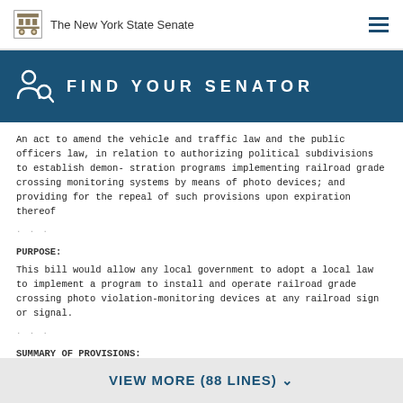The New York State Senate
[Figure (infographic): FIND YOUR SENATOR banner with person/search icon on dark blue background]
An act to amend the vehicle and traffic law and the public officers law, in relation to authorizing political subdivisions to establish demonstration programs implementing railroad grade crossing monitoring systems by means of photo devices; and providing for the repeal of such provisions upon expiration thereof
PURPOSE:
This bill would allow any local government to adopt a local law to implement a program to install and operate railroad grade crossing photo violation-monitoring devices at any railroad sign or signal.
SUMMARY OF PROVISIONS:
Section 1 of the bill amends section 135-a of the vehicle and traffic law by defining a railroad grade crossing as a location where railroad
VIEW MORE (88 LINES)